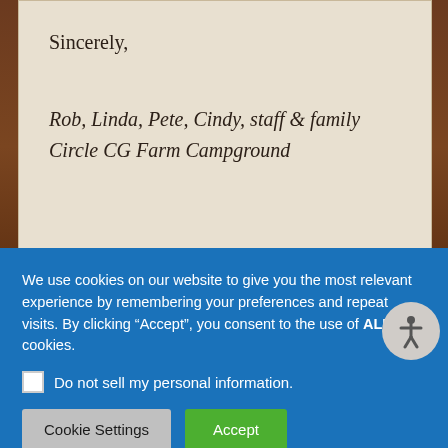Sincerely,
Rob, Linda, Pete, Cindy, staff & family
Circle CG Farm Campground
We use cookies on our website to give you the most relevant experience by remembering your preferences and repeat visits. By clicking “Accept”, you consent to the use of ALL the cookies.
Do not sell my personal information.
Cookie Settings
Accept